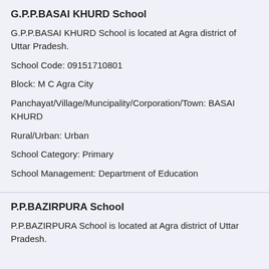G.P.P.BASAI KHURD School
G.P.P.BASAI KHURD School is located at Agra district of Uttar Pradesh.
School Code: 09151710801
Block: M C Agra City
Panchayat/Village/Muncipality/Corporation/Town: BASAI KHURD
Rural/Urban: Urban
School Category: Primary
School Management: Department of Education
P.P.BAZIRPURA School
P.P.BAZIRPURA School is located at Agra district of Uttar Pradesh.